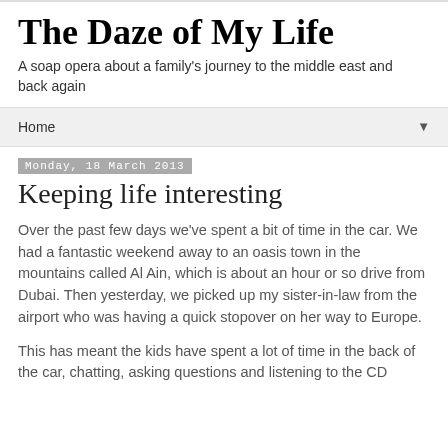The Daze of My Life
A soap opera about a family's journey to the middle east and back again
Home
Monday, 18 March 2013
Keeping life interesting
Over the past few days we've spent a bit of time in the car. We had a fantastic weekend away to an oasis town in the mountains called Al Ain, which is about an hour or so drive from Dubai. Then yesterday, we picked up my sister-in-law from the airport who was having a quick stopover on her way to Europe.
This has meant the kids have spent a lot of time in the back of the car, chatting, asking questions and listening to the CD